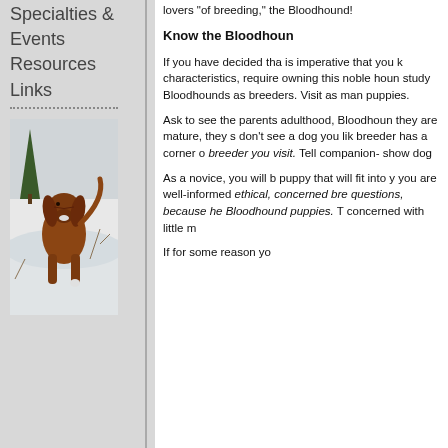Specialties & Events
Resources
Links
[Figure (photo): A Bloodhound dog walking through snow, with trees in background. The dog has reddish-brown coat and long ears.]
lovers "of breeding," the Bloodhound!
Know the Bloodhoun
If you have decided tha is imperative that you k characteristics, require owning this noble houn study Bloodhounds as breeders. Visit as man puppies.
Ask to see the parents adulthood, Bloodhound they are mature, they s don't see a dog you lik breeder has a corner o breeder you visit. Tell companion- show dog
As a novice, you will b puppy that will fit into y you are well-informed ethical, concerned bre questions, because he Bloodhound puppies. T concerned with little m
If for some reason yo